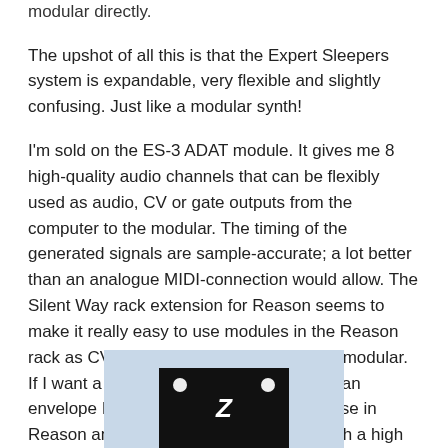modular directly.
The upshot of all this is that the Expert Sleepers system is expandable, very flexible and slightly confusing. Just like a modular synth!
I'm sold on the ES-3 ADAT module. It gives me 8 high-quality audio channels that can be flexibly used as audio, CV or gate outputs from the computer to the modular. The timing of the generated signals are sample-accurate; a lot better than an analogue MIDI-connection would allow. The Silent Way rack extension for Reason seems to make it really easy to use modules in the Reason rack as CV/Gate sources in the analogue modular. If I want a clock signal or an LFO or even an envelope I should be able to generate those in Reason and get them into the modular with a high level of accuracy.
[Figure (photo): Photo of an Expert Sleepers ES-3 ADAT module with a dark face panel showing two circular connectors and a stylized Z symbol in the center, set against a light blue-grey background.]